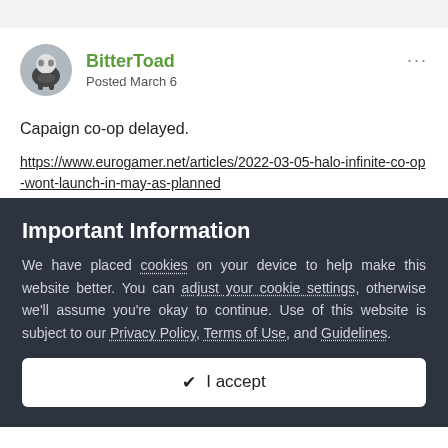[Figure (illustration): Gray top navigation bar]
BitterToad
Posted March 6
Capaign co-op delayed.
https://www.eurogamer.net/articles/2022-03-05-halo-infinite-co-op-wont-launch-in-may-as-planned
Important Information
We have placed cookies on your device to help make this website better. You can adjust your cookie settings, otherwise we'll assume you're okay to continue. Use of this website is subject to our Privacy Policy, Terms of Use, and Guidelines.
✓  I accept